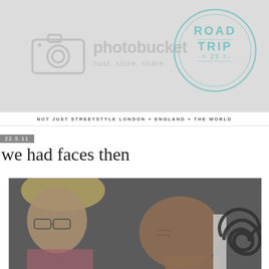[Figure (photo): Photobucket banner image with camera icon, 'photobucket host. store. share.' text, and a teal circular road trip stamp overlay reading 'ROAD TRIP 23']
NOT JUST STREETSTYLE LONDON + ENGLAND + THE WORLD
22.5.11
we had faces then
[Figure (photo): Close-up photograph of two people: a woman with blonde hair and glasses looking down on the left, and a bald man with a large tribal tattoo on his shoulder/back on the right.]